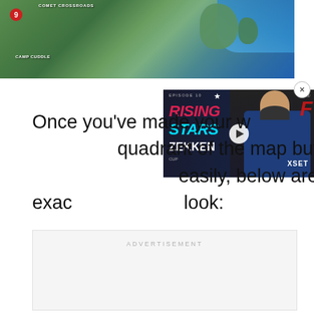[Figure (screenshot): Fortnite game map screenshot showing top-down view of island terrain with numbered location marker (9), water areas, and location labels including 'COMET CROSSROADS' and 'CAMP CUDDLE']
[Figure (screenshot): Video overlay thumbnail for 'Rising Stars' episode 10 featuring player Zekken from XSET esports team, with play button in center]
Once you’ve made your way to the upper-left quadrant of the map but don’t want to get there easily, below are the exact locations to look:
ADVERTISEMENT